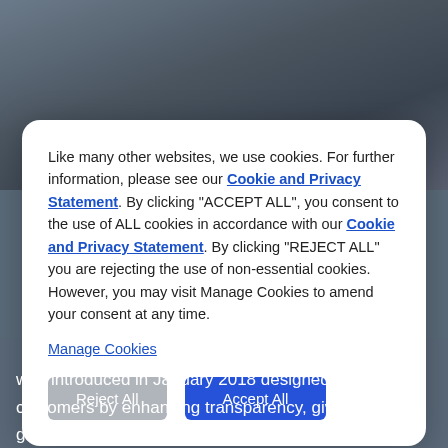[Figure (photo): Background photo of a person, blurred, dark blue-grey tones]
Like many other websites, we use cookies. For further information, please see our Cookie and Privacy Statement. By clicking "ACCEPT ALL", you consent to the use of ALL cookies in accordance with our Cookie and Privacy Statement. By clicking "REJECT ALL" you are rejecting the use of non-essential cookies. However, you may visit Manage Cookies to amend your consent at any time.
Manage Cookies
Reject All
Accept All
was introduced in January 2018 designed to benefit customers by enhancing transparency, giving you greater control over your data and will further